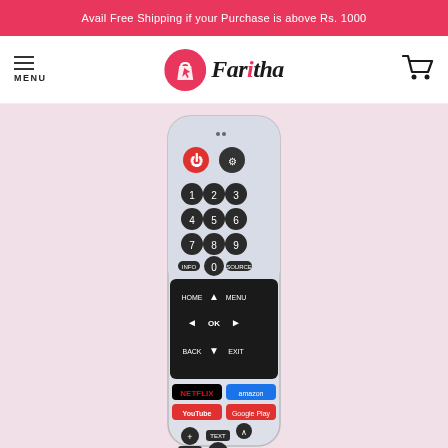Avail Free Shipping if your Purchase is above Rs. 1000
[Figure (logo): Faritha online shopping logo with pink circular icon and stylized text]
[Figure (photo): A white TV remote control with numeric keypad, Netflix, YouTube, Amazon Prime, Google Play buttons, and navigation controls]